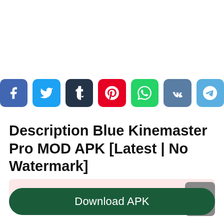[Figure (infographic): Row of 7 social media share buttons: Facebook (blue), Twitter (light blue), Tumblr (dark blue), Pinterest (red), WhatsApp (green), VK (steel blue), Telegram (light blue)]
Description Blue Kinemaster Pro MOD APK [Latest | No Watermark]
Explore this Article +
Download APK